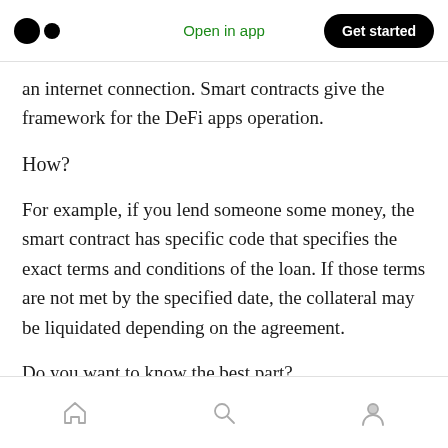Open in app | Get started
an internet connection. Smart contracts give the framework for the DeFi apps operation.
How?
For example, if you lend someone some money, the smart contract has specific code that specifies the exact terms and conditions of the loan. If those terms are not met by the specified date, the collateral may be liquidated depending on the agreement.
Do you want to know the best part?
Home | Search | Profile